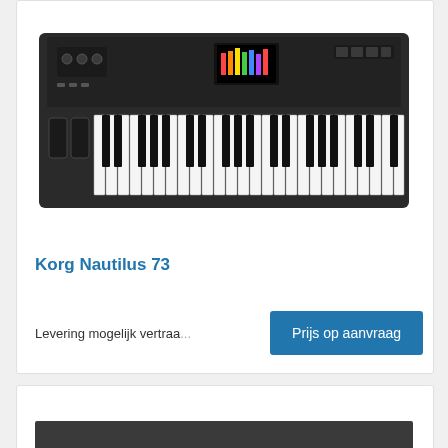[Figure (photo): Korg Nautilus 73 keyboard synthesizer product image, black full-size keyboard with colored display panel]
Korg Nautilus 73
Levering mogelijk vertraa...
Prijs op aanvraag
[Figure (photo): Partial view of another keyboard product, mostly empty white space with dark keyboard edge visible at bottom]